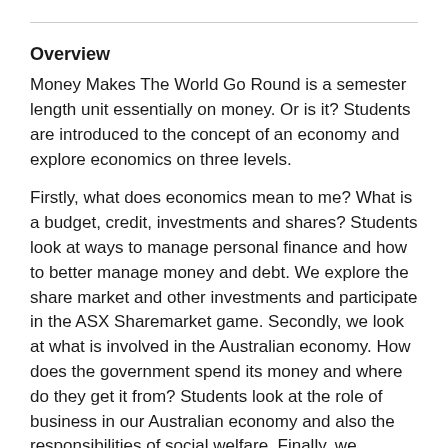Overview
Money Makes The World Go Round is a semester length unit essentially on money. Or is it? Students are introduced to the concept of an economy and explore economics on three levels.
Firstly, what does economics mean to me? What is a budget, credit, investments and shares? Students look at ways to manage personal finance and how to better manage money and debt. We explore the share market and other investments and participate in the ASX Sharemarket game. Secondly, we look at what is involved in the Australian economy. How does the government spend its money and where do they get it from? Students look at the role of business in our Australian economy and also the responsibilities of social welfare. Finally, we